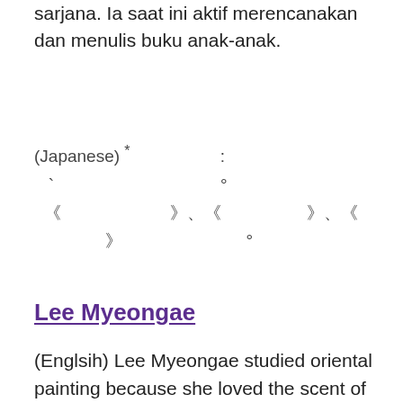sarjana. Ia saat ini aktif merencanakan dan menulis buku anak-anak.
(Japanese) *                    :  ` ° 《                    》、《                    》、《                    》
Lee Myeongae
(Englsih) Lee Myeongae studied oriental painting because she loved the scent of Korean ink. Today, she embodies this scent in her picture books. She has worked on multiple books as an illustrator, and Plastic Island is the book she wrote and drew. She hopes that children will be able to communicate and sympathize